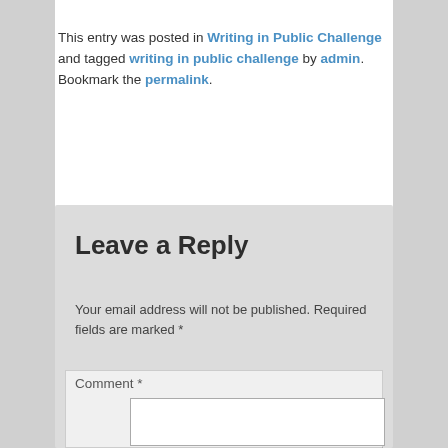This entry was posted in Writing in Public Challenge and tagged writing in public challenge by admin. Bookmark the permalink.
Leave a Reply
Your email address will not be published. Required fields are marked *
Comment *